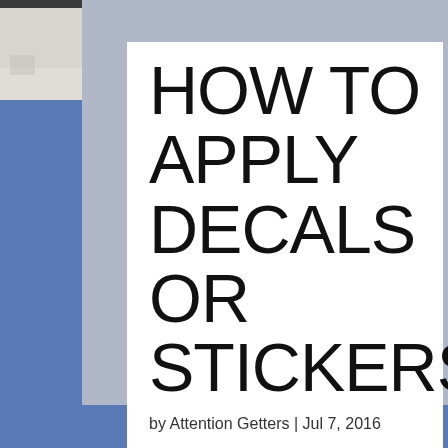[Figure (photo): Small thumbnail photo in top-left corner showing a light-colored floor or surface]
HOW TO APPLY DECALS OR STICKERS
by Attention Getters | Jul 7, 2016
| 3M Vehicle Wraps, Banner Care, Car Graphics, Digital Banner, Digital Print, Digital Print, Digital Print Sign, Digital Printing, Sign, Sign Sizes, Signs, Vehicle